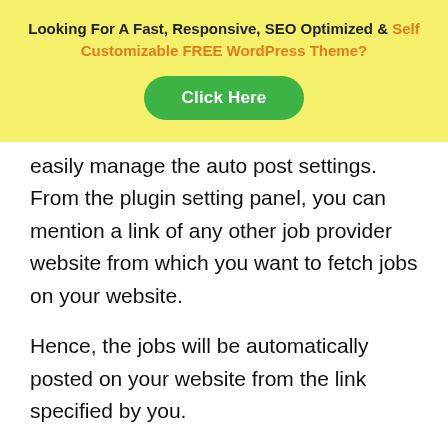[Figure (infographic): Yellow advertisement banner with bold text: 'Looking For A Fast, Responsive, SEO Optimized & Self Customizable FREE WordPress Theme?' and a green 'Click Here' button]
easily manage the auto post settings. From the plugin setting panel, you can mention a link of any other job provider website from which you want to fetch jobs on your website.
Hence, the jobs will be automatically posted on your website from the link specified by you.
Supports Different Affiliates